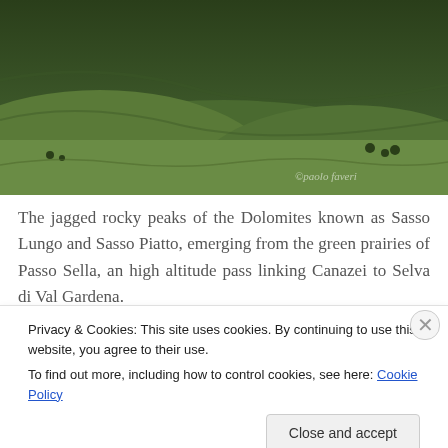[Figure (photo): Aerial/landscape photograph of green alpine meadows and mountain slopes of the Dolomites, with a watermark reading '©paolo faveri' in the lower right corner.]
The jagged rocky peaks of the Dolomites known as Sasso Lungo and Sasso Piatto, emerging from the green prairies of Passo Sella, an high altitude pass linking Canazei to Selva di Val Gardena.
[Figure (illustration): Partial view of a blue gradient graphic/image partially obscured by the cookie banner.]
Privacy & Cookies: This site uses cookies. By continuing to use this website, you agree to their use.
To find out more, including how to control cookies, see here: Cookie Policy
Close and accept